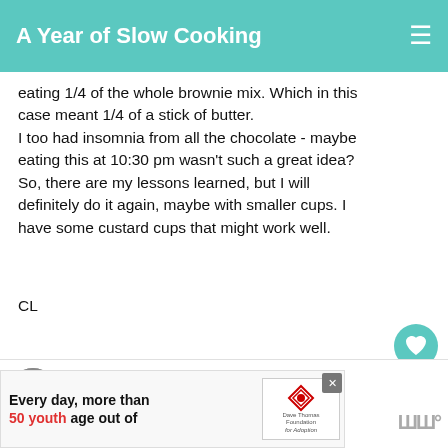A Year of Slow Cooking
eating 1/4 of the whole brownie mix. Which in this case meant 1/4 of a stick of butter. I too had insomnia from all the chocolate - maybe eating this at 10:30 pm wasn't such a great idea? So, there are my lessons learned, but I will definitely do it again, maybe with smaller cups. I have some custard cups that might work well.
CL
DELETE
WHAT'S NEXT → Roasted Garlic in the...
SISTERS SAVINGS